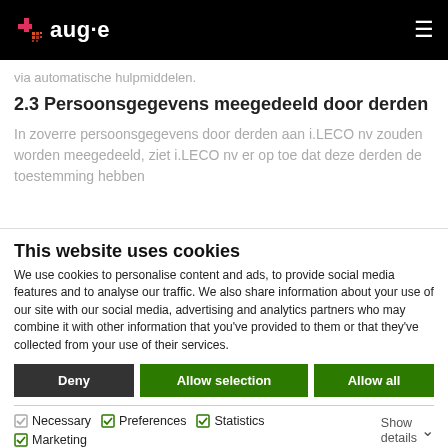aug-e
via automatische hulpmiddelen.
2.3 Persoonsgegevens meegedeeld door derden
In zoverre persoonsgegevens door derden aan i.LECO nv zouden worden meegedeeld, ziet i.LECO nv er op toe dat deze derden de toestemming hebben
This website uses cookies
We use cookies to personalise content and ads, to provide social media features and to analyse our traffic. We also share information about your use of our site with our social media, advertising and analytics partners who may combine it with other information that you've provided to them or that they've collected from your use of their services.
Deny | Allow selection | Allow all
Necessary  Preferences  Statistics  Marketing  Show details